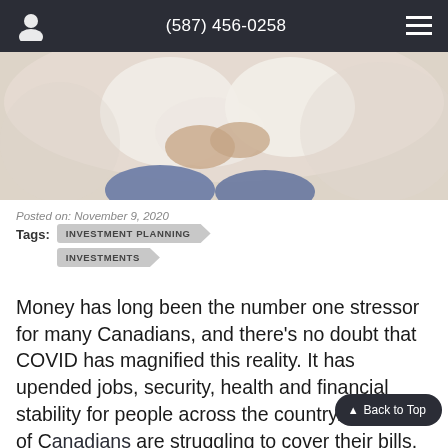(587) 456-0258
[Figure (photo): Photo of a couple sitting closely together outdoors, showing arms and legs in casual clothing (white sweater, jeans), appearing to hug or sit side by side on a light background.]
Posted on: November 9, 2020
Tags:  INVESTMENT PLANNING  INVESTMENTS
Money has long been the number one stressor for many Canadians, and there's no doubt that COVID has magnified this reality. It has upended jobs, security, health and financial stability for people across the country. Millions of Canadians are struggling to cover their bills. In March of 2020, 49% of Canadians were just $200 from financial insolvency.1